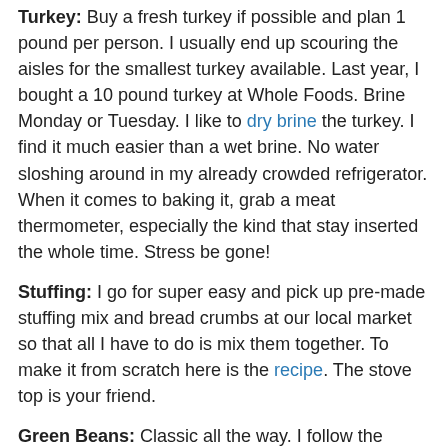Turkey: Buy a fresh turkey if possible and plan 1 pound per person. I usually end up scouring the aisles for the smallest turkey available. Last year, I bought a 10 pound turkey at Whole Foods. Brine Monday or Tuesday. I like to dry brine the turkey. I find it much easier than a wet brine. No water sloshing around in my already crowded refrigerator. When it comes to baking it, grab a meat thermometer, especially the kind that stay inserted the whole time. Stress be gone!
Stuffing: I go for super easy and pick up pre-made stuffing mix and bread crumbs at our local market so that all I have to do is mix them together. To make it from scratch here is the recipe. The stove top is your friend.
Green Beans: Classic all the way. I follow the Campbell's recipe and use frozen green beans.